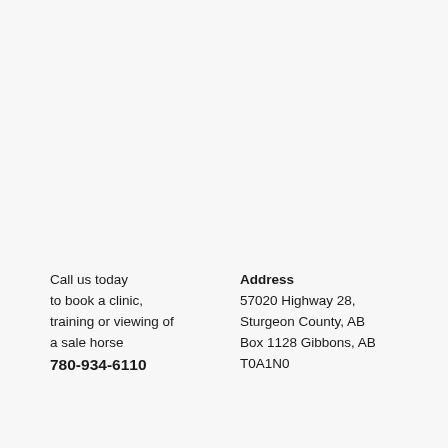Call us today to book a clinic, training or viewing of a sale horse 780-934-6110
Address 57020 Highway 28, Sturgeon County, AB Box 1128 Gibbons, AB T0A1N0